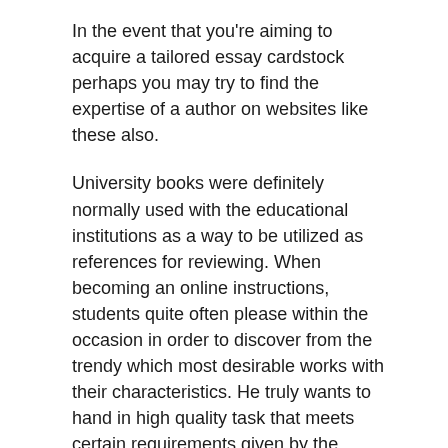In the event that you're aiming to acquire a tailored essay cardstock perhaps you may try to find the expertise of a author on websites like these also.
University books were definitely normally used with the educational institutions as a way to be utilized as references for reviewing. When becoming an online instructions, students quite often please within the occasion in order to discover from the trendy which most desirable works with their characteristics. He truly wants to hand in high quality task that meets certain requirements given by the professor or college or university. Learners may also http://writingcenter.ashford.edu/faculty-services endeavor on the web freelancing projects to acquire really fast and brief profit. They must be helped to decide on the suitable explore occupations around the correct niche, according to their desire. They need to also can